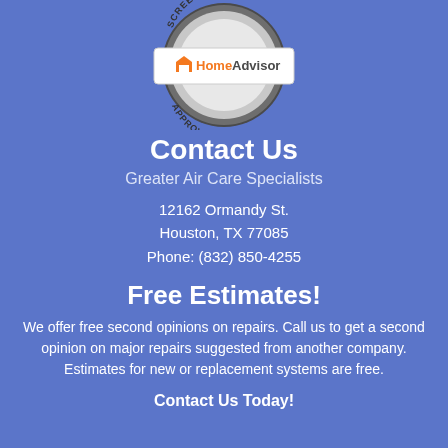[Figure (logo): HomeAdvisor Screened & Approved badge/seal with orange house icon and 'HomeAdvisor' text]
Contact Us
Greater Air Care Specialists
12162 Ormandy St.
Houston, TX 77085
Phone: (832) 850-4255
Free Estimates!
We offer free second opinions on repairs. Call us to get a second opinion on major repairs suggested from another company. Estimates for new or replacement systems are free.
Contact Us Today!